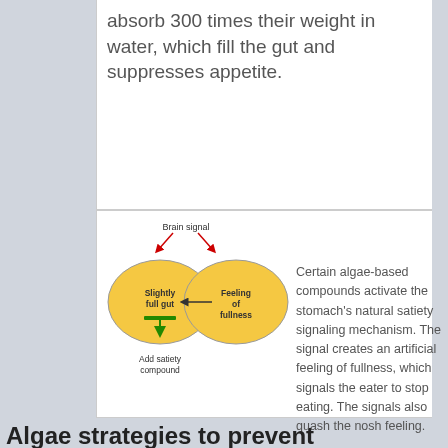absorb 300 times their weight in water, which fill the gut and suppresses appetite.
[Figure (flowchart): Diagram showing two yellow ovals: 'Slightly full gut' connected by arrow to 'Feeling of fullness'. Red arrows point up labeled 'Brain signal'. Green arrow at bottom of left oval labeled 'Add satiety compound'.]
Certain algae-based compounds activate the stomach's natural satiety signaling mechanism. The signal creates an artificial feeling of fullness, which signals the eater to stop eating. The signals also quash the nosh feeling.
Algae strategies to prevent